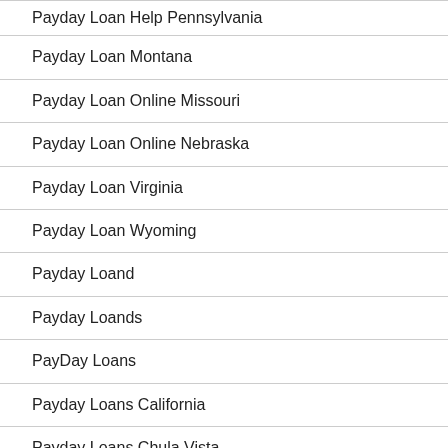Payday Loan Help Pennsylvania
Payday Loan Montana
Payday Loan Online Missouri
Payday Loan Online Nebraska
Payday Loan Virginia
Payday Loan Wyoming
Payday Loand
Payday Loands
PayDay Loans
Payday Loans California
Payday Loans Chula Vista
Payday Loans Florida